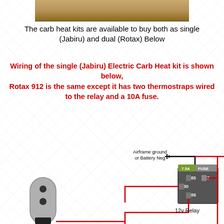[Figure (photo): Partial photo strip at top of page showing a brown/tan object]
The carb heat kits are available to buy both as single (Jabiru) and dual (Rotax) Below
Wiring of the single (Jabiru) Electric Carb Heat kit is shown below,
Rotax 912 is the same except it has two thermostraps wired to the relay and a 10A fuse.
[Figure (schematic): Wiring diagram showing a 12v relay with terminals 85, 86, 87, 30, a 7.5A fuse, airframe ground/Battery Neg connection with ground symbol, red power wires going to relay terminals and off-page, black wire from ground, and a thermostick/thermostrap component at bottom left in gray with a red wire.]